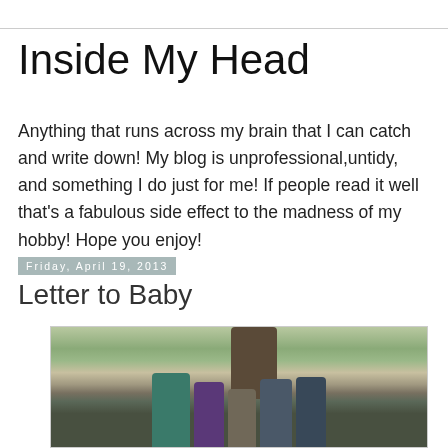Inside My Head
Anything that runs across my brain that I can catch and write down! My blog is unprofessional,untidy, and something I do just for me! If people read it well that's a fabulous side effect to the madness of my hobby! Hope you enjoy!
Friday, April 19, 2013
Letter to Baby
[Figure (photo): Family photo of five children posed outdoors in front of a large tree on a wooden deck or fence. Children of varying ages, with trees and greenery in the background.]